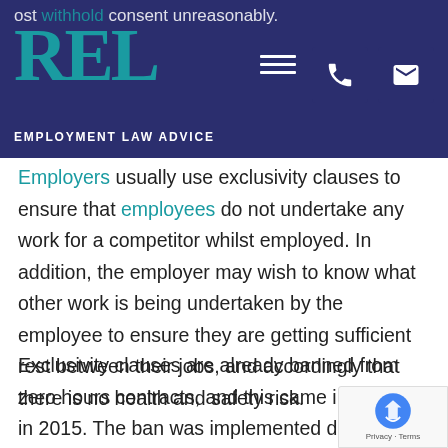REL Employment Law Advice
ost withhold consent unreasonably.
Employers usually use exclusivity clauses to ensure that employees do not undertake any work for a competitor whilst employed. In addition, the employer may wish to know what other work is being undertaken by the employee to ensure they are getting sufficient rest between their jobs, and accordingly that there is no health and safety risk.
Exclusivity clauses are already banned from zero hours contracts, and this came into force in 2015. The ban was implemented due to it being deemed unreasonable to restrict an employee withou...